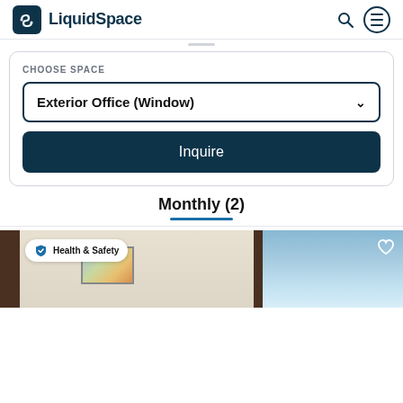LiquidSpace
CHOOSE SPACE
Exterior Office (Window)
Inquire
Monthly (2)
[Figure (photo): Interior office room photo with door on left and painting on wall, and a window view on the right side]
Health & Safety